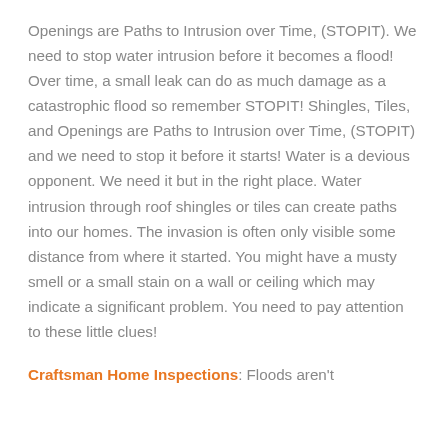Openings are Paths to Intrusion over Time, (STOPIT). We need to stop water intrusion before it becomes a flood! Over time, a small leak can do as much damage as a catastrophic flood so remember STOPIT! Shingles, Tiles, and Openings are Paths to Intrusion over Time, (STOPIT) and we need to stop it before it starts! Water is a devious opponent. We need it but in the right place. Water intrusion through roof shingles or tiles can create paths into our homes. The invasion is often only visible some distance from where it started. You might have a musty smell or a small stain on a wall or ceiling which may indicate a significant problem. You need to pay attention to these little clues!
Craftsman Home Inspections: Floods aren't